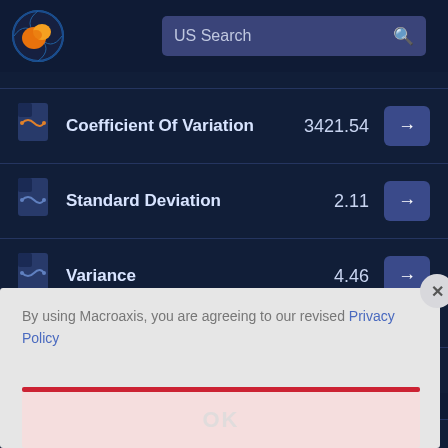[Figure (logo): Macroaxis circular globe logo with orange and blue colors]
US Search
| Metric | Value | Action |
| --- | --- | --- |
| Coefficient Of Variation | 3421.54 | → |
| Standard Deviation | 2.11 | → |
| Variance | 4.46 | → |
By using Macroaxis, you are agreeing to our revised Privacy Policy
OK